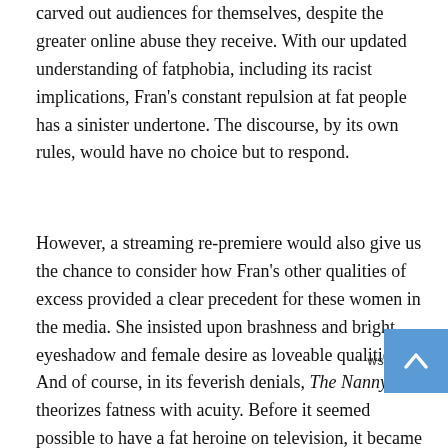carved out audiences for themselves, despite the greater online abuse they receive. With our updated understanding of fatphobia, including its racist implications, Fran's constant repulsion at fat people has a sinister undertone. The discourse, by its own rules, would have no choice but to respond.
However, a streaming re-premiere would also give us the chance to consider how Fran's other qualities of excess provided a clear precedent for these women in the media. She insisted upon brashness and bright eyeshadow and female desire as loveable qualities. And of course, in its feverish denials, The Nanny theorizes fatness with acuity. Before it seemed possible to have a fat heroine on television, it became feasible to put fat characters on the margins, and to talk about fatness without euphemism. Fran's mother certainly eschews shame as she digs into another cheese kugel, despite the other characters' best efforts to shame her.